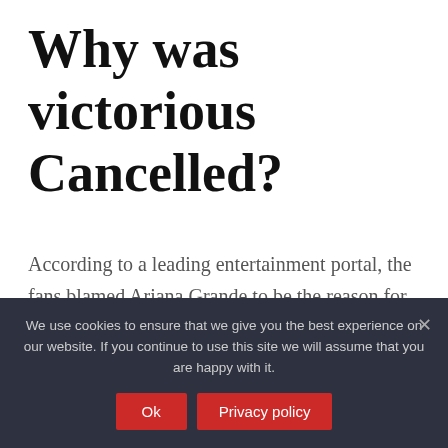Why was victorious Cancelled?
According to a leading entertainment portal, the fans blamed Ariana Grande to be the reason for the end of the show. They accused that her working for a spinoff, Sam & Cat was the reason the makers cancelled Victorious' seasons in future. Ariana Grande was prompt to reply.
We use cookies to ensure that we give you the best experience on our website. If you continue to use this site we will assume that you are happy with it.